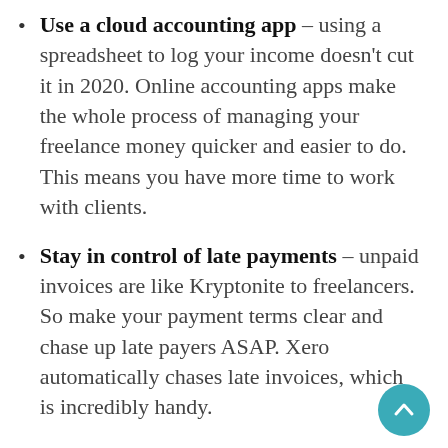Use a cloud accounting app – using a spreadsheet to log your income doesn't cut it in 2020. Online accounting apps make the whole process of managing your freelance money quicker and easier to do. This means you have more time to work with clients.
Stay in control of late payments – unpaid invoices are like Kryptonite to freelancers. So make your payment terms clear and chase up late payers ASAP. Xero automatically chases late invoices, which is incredibly handy.
Work with an expert – if you can afford it, I'd definitely suggest engaging a financial expert. Time spent worrying over late payments and tax returns is time lost for the business. A bookkeeper helps you to sort all that out, reducing your financial worries and your stress